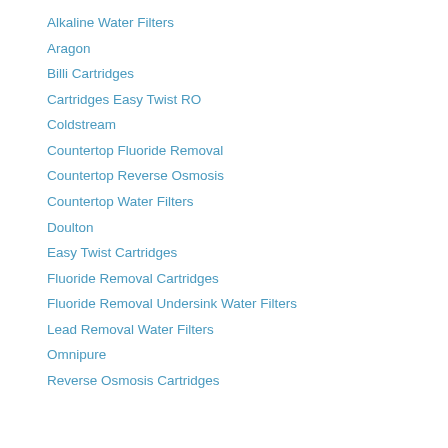Alkaline Water Filters
Aragon
Billi Cartridges
Cartridges Easy Twist RO
Coldstream
Countertop Fluoride Removal
Countertop Reverse Osmosis
Countertop Water Filters
Doulton
Easy Twist Cartridges
Fluoride Removal Cartridges
Fluoride Removal Undersink Water Filters
Lead Removal Water Filters
Omnipure
Reverse Osmosis Cartridges